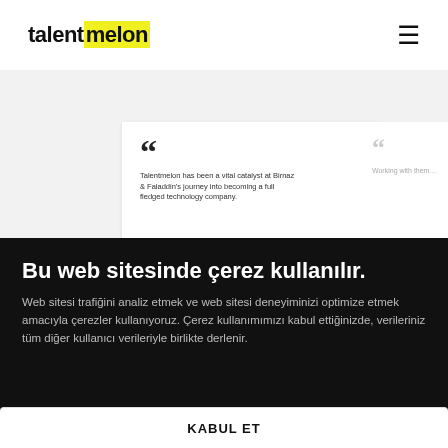talentmelon
[Figure (screenshot): Testimonial cards on gray background. Left card (white): large dark quote marks, text 'Talentmelon has been a vital catalyst at Birnaz & Faladdin\'s journey into becoming a full fledged technology company.'. Right card (white, partially visible): gray quote marks, partial text 'Working with them...']
Bu web sitesinde çerez kullanılır.
Web sitesi trafiğini analiz etmek ve web sitesi deneyiminizi optimize etmek amacıyla çerezler kullanıyoruz. Çerez kullanımımızı kabul ettiğinizde, verileriniz tüm diğer kullanıcı verileriyle birlikte derlenir.
KABUL ET